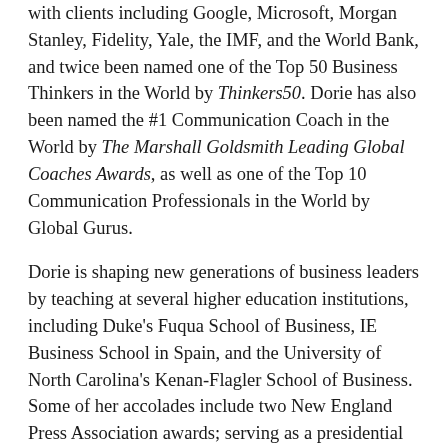with clients including Google, Microsoft, Morgan Stanley, Fidelity, Yale, the IMF, and the World Bank, and twice been named one of the Top 50 Business Thinkers in the World by Thinkers50. Dorie has also been named the #1 Communication Coach in the World by The Marshall Goldsmith Leading Global Coaches Awards, as well as one of the Top 10 Communication Professionals in the World by Global Gurus.
Dorie is shaping new generations of business leaders by teaching at several higher education institutions, including Duke's Fuqua School of Business, IE Business School in Spain, and the University of North Carolina's Kenan-Flagler School of Business. Some of her accolades include two New England Press Association awards; serving as a presidential campaign spokesperson; and a producer of a multiple Grammy-winning jazz album. Dorie also invests in Broadway productions and is a lyricist in BMI's Tony-Award winning Lehman Engel Musical Theatre Advanced Workshop. She's also a member of Marshall Goldsmith's MG100 program, as well as an angel investor and startup advisor.
Dorie writes regularly for the Harvard Business Review.